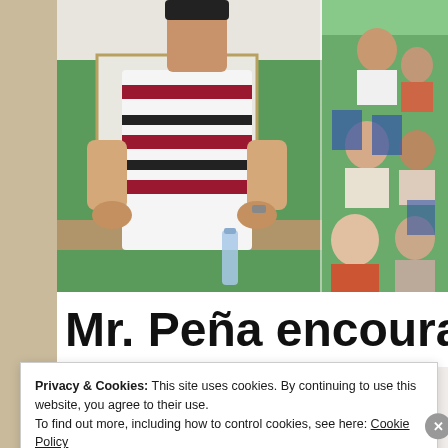[Figure (photo): A man in a white and dark-striped polo shirt stands leaning over a table in a green-walled room. On the right side, several people are seated, appearing to be in a meeting or workshop setting.]
Mr. Peña encourage
Privacy & Cookies: This site uses cookies. By continuing to use this website, you agree to their use.
To find out more, including how to control cookies, see here: Cookie Policy
Close and accept